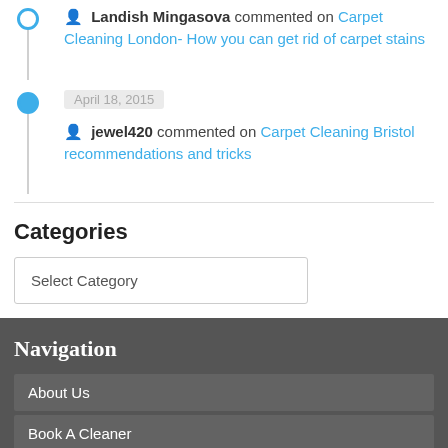Landish Mingasova commented on Carpet Cleaning London- How you can get rid of carpet stains
April 18, 2015
jewel420 commented on Carpet Cleaning Bristol recommendations and tricks
Categories
Select Category
Navigation
About Us
Book A Cleaner